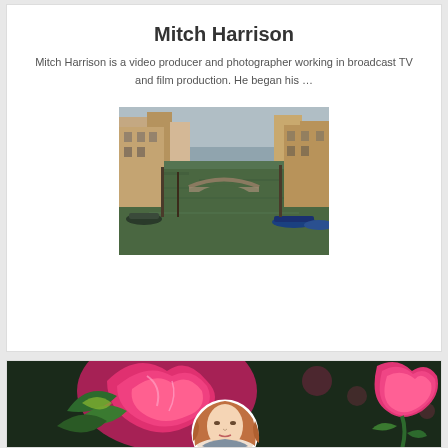Mitch Harrison
Mitch Harrison is a video producer and photographer working in broadcast TV and film production. He began his …
[Figure (photo): A Venice canal with boats moored along the sides, historic buildings lining the waterway, and a bridge visible in the background under an overcast sky.]
[Figure (photo): A banner image showing large painted pink/magenta roses and flowers on a dark background, with a circular profile photo of a woman with long auburn hair overlaid at the bottom center.]